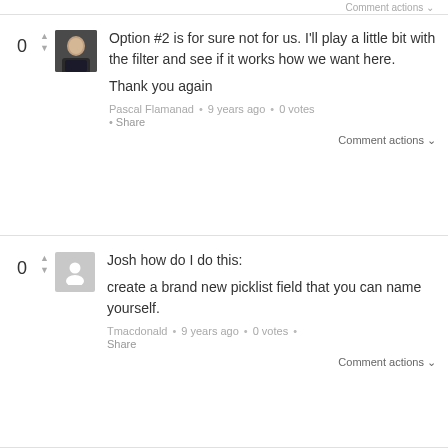Comment actions
Option #2 is for sure not for us. I'll play a little bit with the filter and see if it works how we want here.

Thank you again
Pascal Flamanad • 9 years ago • 0 votes • Share
Comment actions
Josh how do I do this:

create a brand new picklist field that you can name yourself.
Tmacdonald • 9 years ago • 0 votes • Share
Comment actions